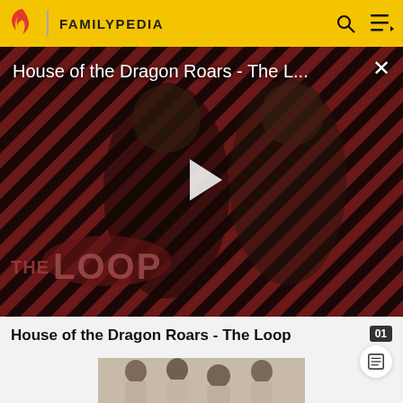FAMILYPEDIA
[Figure (screenshot): Video thumbnail for 'House of the Dragon Roars - The L...' showing two characters from House of the Dragon over a diagonal red and black stripe pattern background with 'THE LOOP' text overlay and a play button in the center. A close (X) button is in the top right corner.]
House of the Dragon Roars - The Loop
[Figure (photo): Old black and white photograph showing four men in light-colored clothing and caps, appearing to be a historical portrait.]